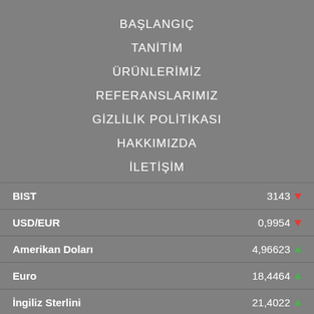BAŞLANGIÇ
TANİTİM
ÜRÜNLERİMİZ
REFERANSLARIMIZ
GİZLİLİK POLİTİKASI
HAKKIMIZDA
İLETİŞİM
| Name | Value | Direction |
| --- | --- | --- |
| BIST | 3143 | down |
| USD/EUR | 0,9954 | down |
| Amerikan Doları | 4,96623 | up |
| Euro | 18,4464 | up |
| İngiliz Sterlini | 21,4022 | up |
| Japon Yeni | 13,3176 | up |
| Rus Rublesi | 0,000 |  |